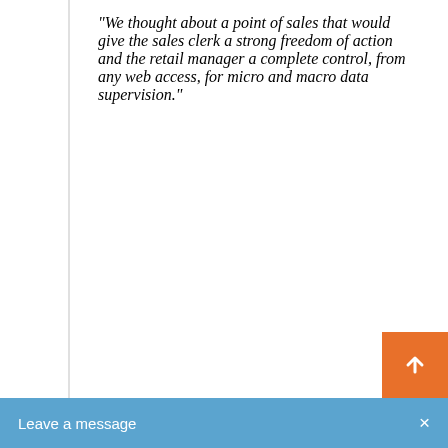"We thought about a point of sales that would give the sales clerk a strong freedom of action and the retail manager a complete control, from any web access, for micro and macro data supervision."
Said Francesco Mignogna, Product Manager at KiaraCloud, and added:
"In recent years we have integrated KiaraCloud to several loyalty and CRM systems, such as Salesforce and Koncentro, and to many digital and smart payment systems. The almost 2000 Italian installations of the last year have confirmed the development strategy of the solution. The flexibility that we have given to